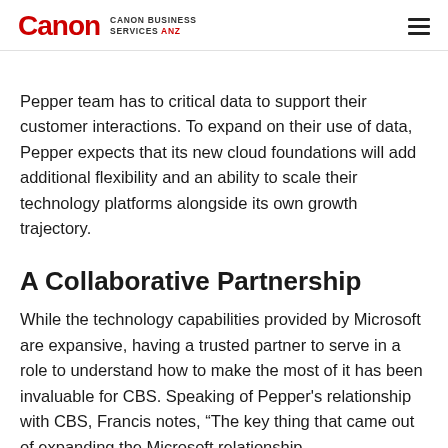Canon | Canon Business Services ANZ
Pepper team has to critical data to support their customer interactions. To expand on their use of data, Pepper expects that its new cloud foundations will add additional flexibility and an ability to scale their technology platforms alongside its own growth trajectory.
A Collaborative Partnership
While the technology capabilities provided by Microsoft are expansive, having a trusted partner to serve in a role to understand how to make the most of it has been invaluable for CBS. Speaking of Pepper's relationship with CBS, Francis notes, “The key thing that came out of expanding the Microsoft relationship